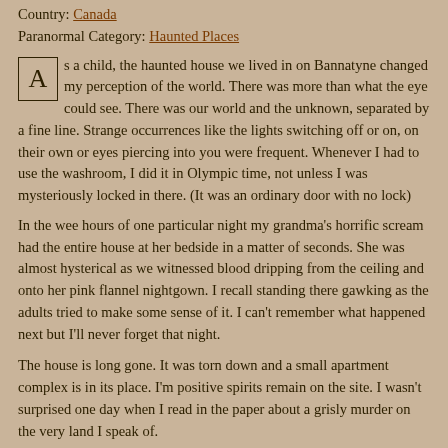Country: Canada
Paranormal Category: Haunted Places
As a child, the haunted house we lived in on Bannatyne changed my perception of the world. There was more than what the eye could see. There was our world and the unknown, separated by a fine line. Strange occurrences like the lights switching off or on, on their own or eyes piercing into you were frequent. Whenever I had to use the washroom, I did it in Olympic time, not unless I was mysteriously locked in there. (It was an ordinary door with no lock)
In the wee hours of one particular night my grandma's horrific scream had the entire house at her bedside in a matter of seconds. She was almost hysterical as we witnessed blood dripping from the ceiling and onto her pink flannel nightgown. I recall standing there gawking as the adults tried to make some sense of it. I can't remember what happened next but I'll never forget that night.
The house is long gone. It was torn down and a small apartment complex is in its place. I'm positive spirits remain on the site. I wasn't surprised one day when I read in the paper about a grisly murder on the very land I speak of.